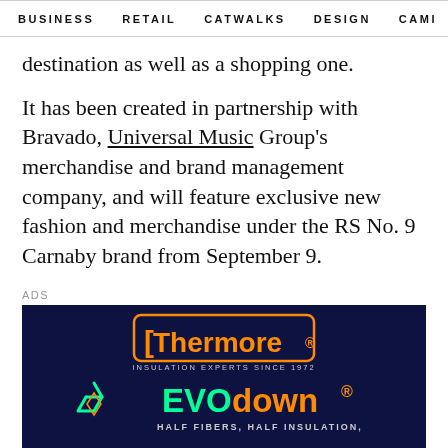BUSINESS   RETAIL   CATWALKS   DESIGN   CAMI  >
destination as well as a shopping one.
It has been created in partnership with Bravado, Universal Music Group's merchandise and brand management company, and will feature exclusive new fashion and merchandise under the RS No. 9 Carnaby brand from September 9.
ADS
[Figure (illustration): Thermore advertisement banner with dark navy background. Shows the Thermore logo in orange with tagline 'INSULATION EXPERTS SINCE 1972', and below a recycling symbol graphic alongside 'EVOdown®' in green/orange neon text, with subtitle 'HALF FIBERS, HALF INSULATION,']